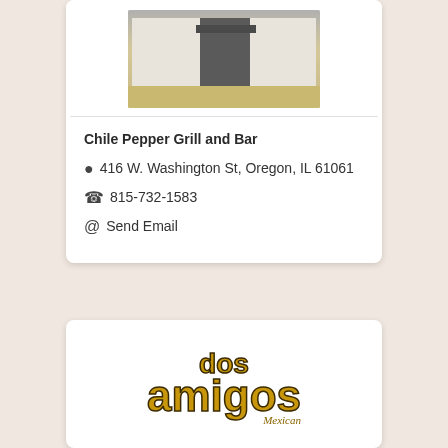[Figure (photo): Exterior photo of Chile Pepper Grill and Bar restaurant building]
Chile Pepper Grill and Bar
416 W. Washington St, Oregon, IL 61061
815-732-1583
Send Email
[Figure (logo): Dos Amigos Mexican restaurant logo in gold/brown lettering]